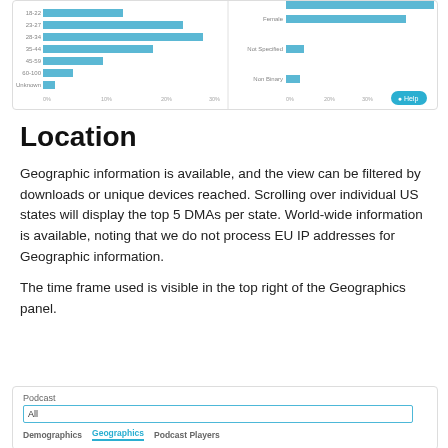[Figure (screenshot): Partial screenshot of a demographics bar chart showing age groups on the left panel and gender categories (Female, Not Specified, Non Binary) on the right panel, with a Help button in the bottom right corner.]
Location
Geographic information is available, and the view can be filtered by downloads or unique devices reached. Scrolling over individual US states will display the top 5 DMAs per state. World-wide information is available, noting that we do not process EU IP addresses for Geographic information.
The time frame used is visible in the top right of the Geographics panel.
[Figure (screenshot): Partial screenshot of a podcast analytics UI showing a Podcast dropdown set to 'All', and tab navigation with Demographics, Geographics (active/highlighted in teal), and Podcast Players tabs.]